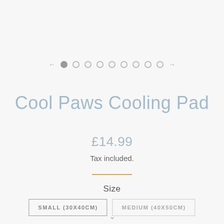[Figure (other): Image carousel navigation with a left arrow, one filled dot (active), eight empty circle dots, and a right arrow]
Cool Paws Cooling Pad
£14.99
Tax included.
Size
SMALL (30X40CM)
MEDIUM (40X50CM)